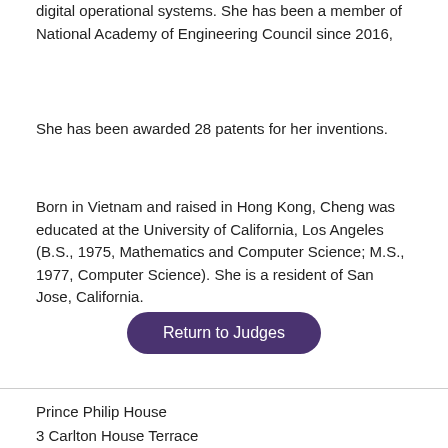digital operational systems. She has been a member of National Academy of Engineering Council since 2016,
She has been awarded 28 patents for her inventions.
Born in Vietnam and raised in Hong Kong, Cheng was educated at the University of California, Los Angeles (B.S., 1975, Mathematics and Computer Science; M.S., 1977, Computer Science). She is a resident of San Jose, California.
Return to Judges
Prince Philip House
3 Carlton House Terrace